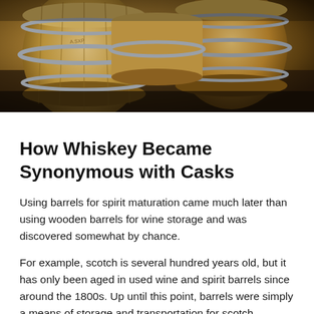[Figure (photo): Wooden whiskey barrels/casks stacked in a dimly lit warehouse or cellar, showing the curved wooden staves and metal bands of several barrels.]
How Whiskey Became Synonymous with Casks
Using barrels for spirit maturation came much later than using wooden barrels for wine storage and was discovered somewhat by chance.
For example, scotch is several hundred years old, but it has only been aged in used wine and spirit barrels since around the 1800s. Up until this point, barrels were simply a means of storage and transportation for scotch.
During the 1800s, the Scots noticed a correlation between